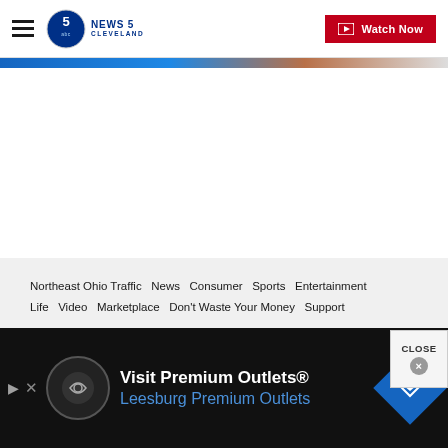News 5 Cleveland — Watch Now
[Figure (screenshot): Partial image strip at the top of the news page, showing blue and orange/brown image content clipped at the top.]
Northeast Ohio Traffic  News  Consumer  Sports  Entertainment  Life  Video  Marketplace  Don't Waste Your Money  Support
Sitemap  Privacy Policy  Privacy Center  Journalism Ethics Guidelines  Terms of Use  EEO  Careers
[Figure (screenshot): Close button overlay with text CLOSE and a grey X circle.]
[Figure (infographic): Advertisement banner: Visit Premium Outlets® — Leesburg Premium Outlets, with logo circles and directional road sign icon.]